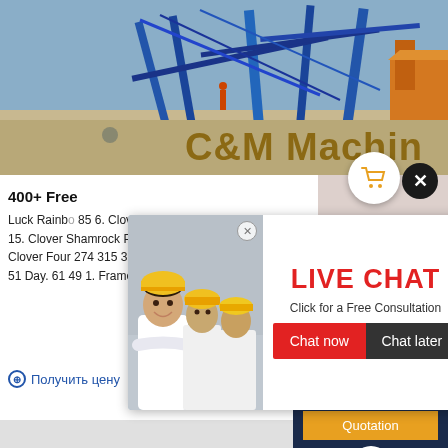[Figure (photo): Industrial facility / mining machinery aerial view with blue conveyor belts and cranes. Text overlay: C&M Machine]
C&M Machine
400+ Free
Luck Rainbow 85 6. Clover 61 68 12. Leaf Clover. 65 74 15. Clover Shamrock Patrick'S Day Icons. 43 77 4. Clover Four 274 315 36. Clover Shamrocks Irish. 56 51 Day. 61 49 1. Frame Leaves Leaf. 56 43 5.
[Figure (photo): Live chat popup with workers in yellow hard hats on left, LIVE CHAT text in red on right, subtitle 'Click for a Free Consultation', Chat now (red) and Chat later (dark) buttons]
[Figure (photo): Customer service representative woman with headset, smiling]
Получить цену
Have any requests, click here.
Quotation
дознание
drobilkalm